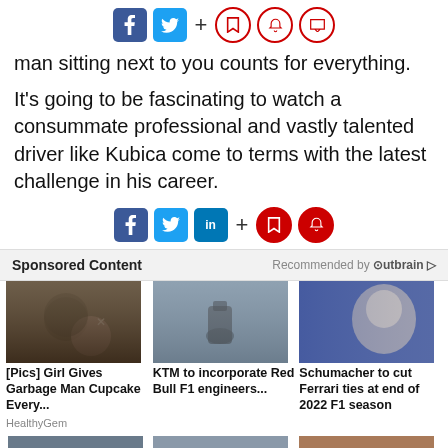[Figure (infographic): Social sharing icons top bar: Facebook, Twitter, plus sign, bookmark, bell, comment buttons]
man sitting next to you counts for everything.
It's going to be fascinating to watch a consummate professional and vastly talented driver like Kubica come to terms with the latest challenge in his career.
[Figure (infographic): Social sharing icons bottom bar: Facebook, Twitter, LinkedIn, plus sign, bookmark, bell buttons]
Sponsored Content   Recommended by Outbrain
[Figure (photo): Man with sunglasses and little girl with bow]
[Figure (photo): Motorcycle racing on track]
[Figure (photo): Young man in blue shirt, Schumacher]
[Pics] Girl Gives Garbage Man Cupcake Every...
KTM to incorporate Red Bull F1 engineers...
Schumacher to cut Ferrari ties at end of 2022 F1 season
HealthyGem
[Figure (photo): Partial bottom row images]
[Figure (photo): Partial bottom row image 2]
[Figure (photo): Partial bottom row image 3]